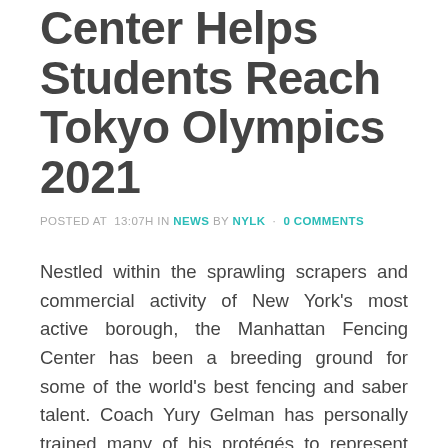Center Helps Students Reach Tokyo Olympics 2021
POSTED AT 13:07H IN NEWS BY NYLK · 0 COMMENTS
Nestled within the sprawling scrapers and commercial activity of New York's most active borough, the Manhattan Fencing Center has been a breeding ground for some of the world's best fencing and saber talent. Coach Yury Gelman has personally trained many of his protégés to represent their respective countries at the greatest athletic tests for fencing talent, the